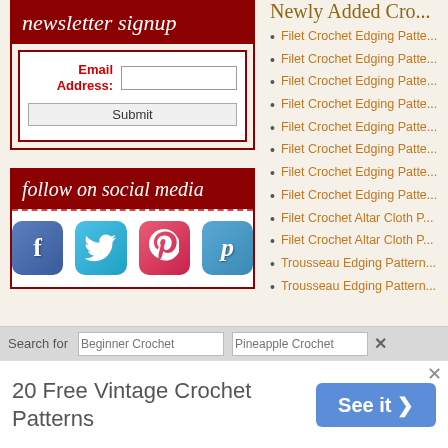newsletter signup
Email Address: [input field] Submit
follow on social media
[Figure (infographic): Social media icons: Facebook, Twitter, Pinterest, Plurk]
Newly Added Crochet Patterns
Filet Crochet Edging Patte...
Filet Crochet Edging Patte...
Filet Crochet Edging Patte...
Filet Crochet Edging Patte...
Filet Crochet Edging Patte...
Filet Crochet Edging Patte...
Filet Crochet Edging Patte...
Filet Crochet Edging Patte...
Filet Crochet Altar Cloth P...
Filet Crochet Altar Cloth P...
Trousseau Edging Pattern...
Trousseau Edging Pattern...
Search for
20 Free Vintage Crochet Patterns  See it >